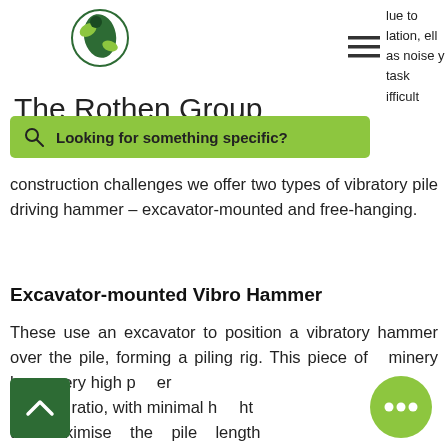[Figure (logo): The Rothen Group logo with green bird/leaf icon and company name text]
lue to lation, ell as noise y task ifficult
[Figure (other): Hamburger menu icon (three horizontal lines)]
[Figure (other): Green search bar with magnifying glass icon and text: Looking for something specific?]
construction challenges we offer two types of vibratory pile driving hammer – excavator-mounted and free-hanging.
Excavator-mounted Vibro Hammer
These use an excavator to position a vibratory hammer over the pile, forming a piling rig. This piece of machinery has a very high power to weight ratio, with minimal height to maximise the pile length
[Figure (other): Dark green back-to-top arrow button]
[Figure (other): Green circular chat bubble button with three dots]